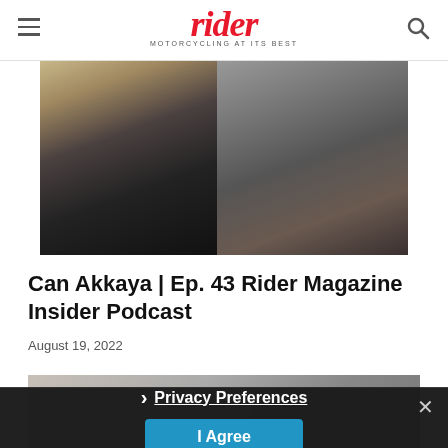rider — MOTORCYCLING AT ITS BEST
[Figure (photo): Hero image showing a motorcycle on the left side and a person wearing a 'Superbike Coach' shirt on the right side]
Can Akkaya | Ep. 43 Rider Magazine Insider Podcast
August 19, 2022
[Figure (photo): Partially visible second photo below the article title, obscured by privacy overlay]
Privacy Preferences
I Agree